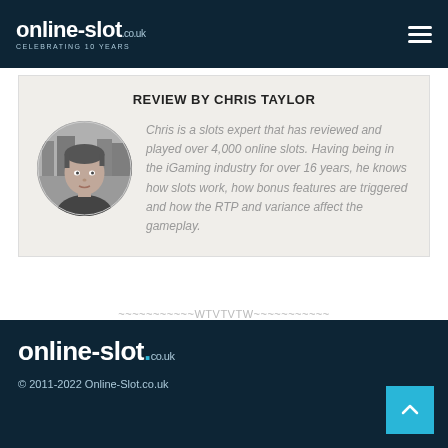online-slot.co.uk — CELEBRATING 10 YEARS
REVIEW BY CHRIS TAYLOR
[Figure (photo): Circular profile photo of Chris Taylor, a man in his 30s in black and white, with buildings in the background.]
Chris is a slots expert that has reviewed and played over 4,000 online slots. Having being in the iGaming industry for over 16 years, he knows how slots work, how bonus features are triggered and how the RTP and variance affect the gameplay.
~~~~~~~~~~~WTVTVTW~~~~~~~~~~~
online-slot.co.uk
© 2011-2022 Online-Slot.co.uk